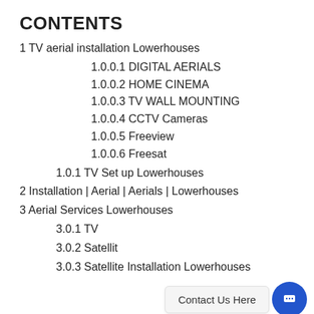CONTENTS
1 TV aerial installation Lowerhouses
1.0.0.1 DIGITAL AERIALS
1.0.0.2 HOME CINEMA
1.0.0.3 TV WALL MOUNTING
1.0.0.4 CCTV Cameras
1.0.0.5 Freeview
1.0.0.6 Freesat
1.0.1 TV Set up Lowerhouses
2 Installation | Aerial | Aerials | Lowerhouses
3 Aerial Services Lowerhouses
3.0.1 TV
3.0.2 Satellit
3.0.3 Satellite Installation Lowerhouses